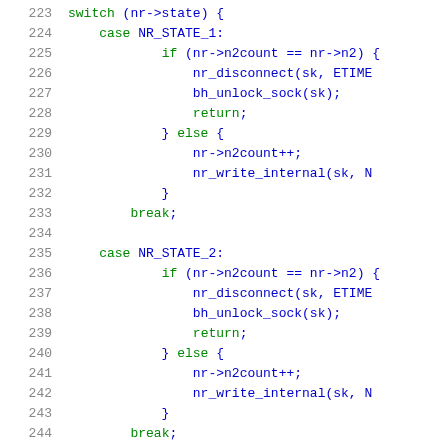Code listing lines 223-244: C source code showing switch statement with NR_STATE_1 and NR_STATE_2 cases